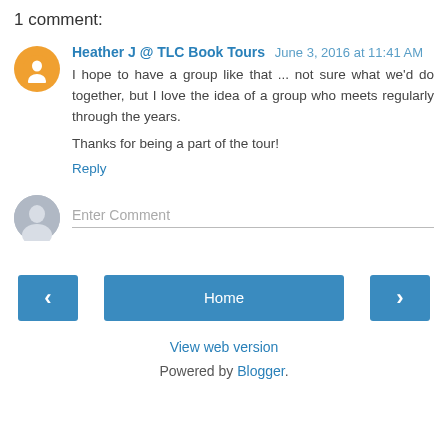1 comment:
Heather J @ TLC Book Tours June 3, 2016 at 11:41 AM
I hope to have a group like that ... not sure what we'd do together, but I love the idea of a group who meets regularly through the years.

Thanks for being a part of the tour!
Reply
Enter Comment
Home
View web version
Powered by Blogger.